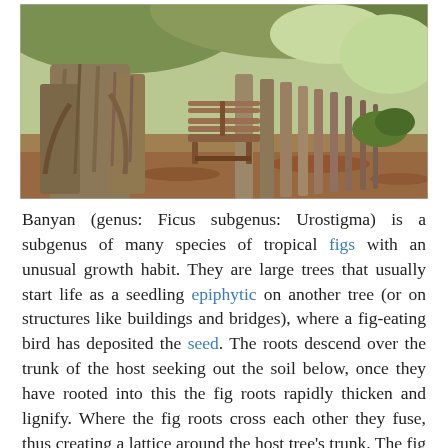[Figure (photo): Photograph of a large banyan tree with massive aerial prop roots, a wooden bench in the center, and a path lined with more banyan trees receding into the background in a park setting.]
Banyan (genus: Ficus subgenus: Urostigma) is a subgenus of many species of tropical figs with an unusual growth habit. They are large trees that usually start life as a seedling epiphytic on another tree (or on structures like buildings and bridges), where a fig-eating bird has deposited the seed. The roots descend over the trunk of the host seeking out the soil below, once they have rooted into this the fig roots rapidly thicken and lignify. Where the fig roots cross each other they fuse, thus creating a lattice around the host tree's trunk. The fig competes with its host for light, water and nutrients, while its roots prevent the host's trunk from growing. Eventually the host dies and rots away, leaving the fig self supporting as an ordinary tree, but with a tubular lattice of lignified roots.